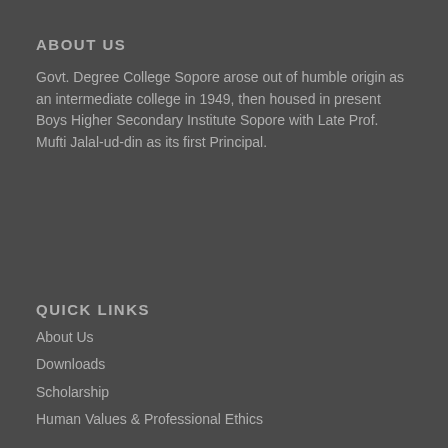ABOUT US
Govt. Degree College Sopore arose out of humble origin as an intermediate college in 1949, then housed in present Boys Higher Secondary Institute Sopore with Late Prof. Mufti Jalal-ud-din as its first Principal.
QUICK LINKS
About Us
Downloads
Scholarship
Human Values & Professional Ethics